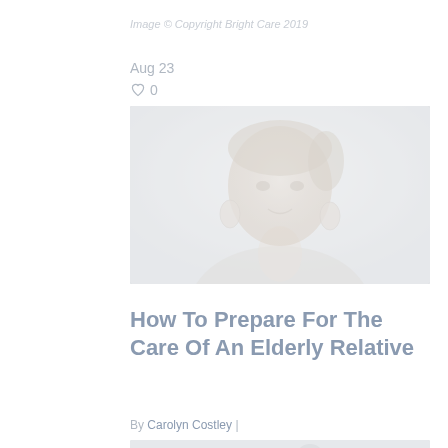Image © Copyright Bright Care 2019
Aug 23
♡ 0
[Figure (photo): Portrait photo of a smiling middle-aged woman with light hair pulled back, wearing drop earrings, faded/washed out appearance]
How To Prepare For The Care Of An Elderly Relative
By Carolyn Costley |
[Figure (photo): Partial photo at bottom of page showing a person at a desk, faded/washed out appearance]